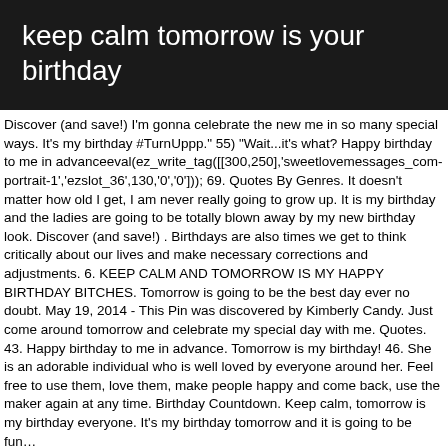keep calm tomorrow is your birthday
Discover (and save!) I'm gonna celebrate the new me in so many special ways. It's my birthday #TurnUppp." 55) "Wait...it's what? Happy birthday to me in advanceeval(ez_write_tag([[300,250],'sweetlovemessages_com-portrait-1','ezslot_36',130,'0','0'])); 69. Quotes By Genres. It doesn't matter how old I get, I am never really going to grow up. It is my birthday and the ladies are going to be totally blown away by my new birthday look. Discover (and save!) . Birthdays are also times we get to think critically about our lives and make necessary corrections and adjustments. 6. KEEP CALM AND TOMORROW IS MY HAPPY BIRTHDAY BITCHES. Tomorrow is going to be the best day ever no doubt. May 19, 2014 - This Pin was discovered by Kimberly Candy. Just come around tomorrow and celebrate my special day with me. Quotes. 43. Happy birthday to me in advance. Tomorrow is my birthday! 46. She is an adorable individual who is well loved by everyone around her. Feel free to use them, love them, make people happy and come back, use the maker again at any time. Birthday Countdown. Keep calm, tomorrow is my birthday everyone. It's my birthday tomorrow and it is going to be fun… eval(ez_write_tag([[728,90],'sweetlovemessages_com-large-leaderboard-